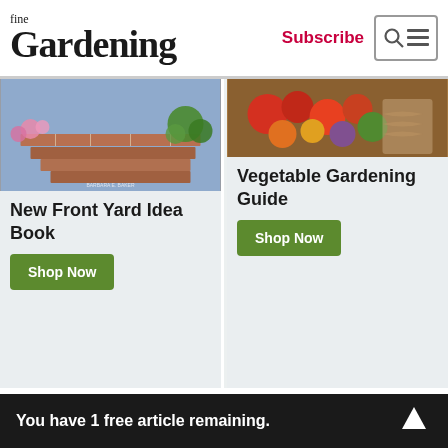fine Gardening | Subscribe
[Figure (photo): Book cover showing brick garden steps with flowering plants - New Front Yard Idea Book]
New Front Yard Idea Book
Shop Now
[Figure (photo): Photo of vegetables and produce in a basket - Vegetable Gardening Guide]
Vegetable Gardening Guide
Shop Now
FINE GARDENING MAGAZINE
You have 1 free article remaining.